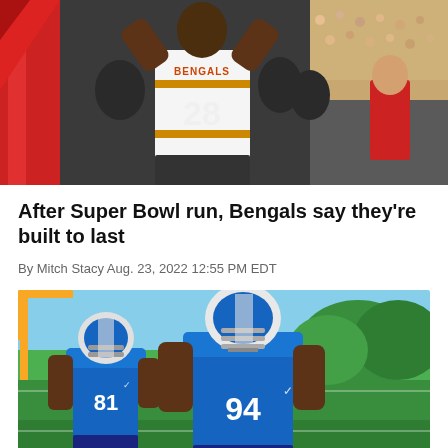[Figure (photo): Bengals player wearing jersey number 28 raising arms, crowd visible in background, stadium setting]
After Super Bowl run, Bengals say they're built to last
By Mitch Stacy Aug. 23, 2022 12:55 PM EDT
[Figure (photo): Two football players in blue jerseys numbered 81 and 94 at practice, green field and yellow goalpost visible in background]